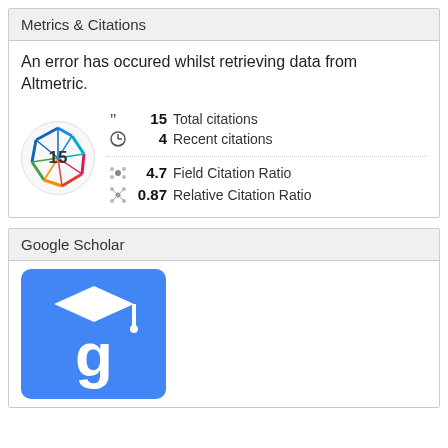Metrics & Citations
An error has occured whilst retrieving data from Altmetric.
[Figure (infographic): Dimensions badge showing citation count 15 with colorful geometric shape, alongside metrics: 15 Total citations, 4 Recent citations, 4.7 Field Citation Ratio, 0.87 Relative Citation Ratio]
Google Scholar
[Figure (logo): Google Scholar logo — blue rounded square with white stylized 'g' wearing a graduation cap]